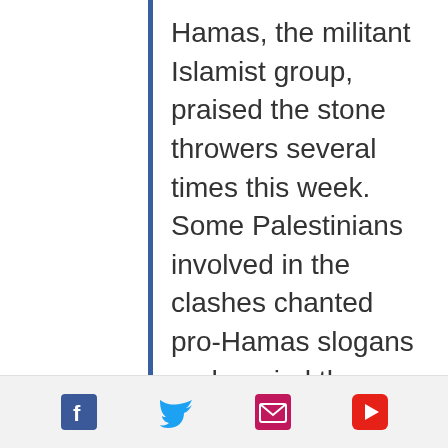Hamas, the militant Islamist group, praised the stone throwers several times this week. Some Palestinians involved in the clashes chanted pro-Hamas slogans and carried the green flags associated with the group — raising questions about whether Hamas operatives had played a role in premeditating the unrest, knowing that Israel would
[Figure (other): Social media sharing icons: Facebook, Twitter, Email, YouTube]